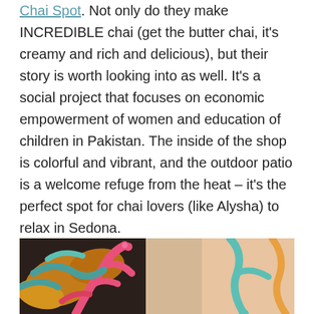Chai Spot. Not only do they make INCREDIBLE chai (get the butter chai, it's creamy and rich and delicious), but their story is worth looking into as well. It's a social project that focuses on economic empowerment of women and education of children in Pakistan. The inside of the shop is colorful and vibrant, and the outdoor patio is a welcome refuge from the heat – it's the perfect spot for chai lovers (like Alysha) to relax in Sedona.
[Figure (photo): Colorful floral patterned fabric or surface with pink, teal, orange, and gold colors]